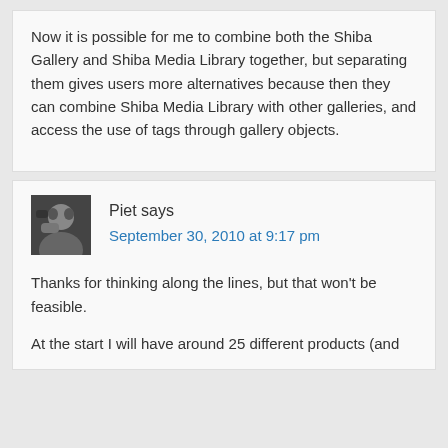Now it is possible for me to combine both the Shiba Gallery and Shiba Media Library together, but separating them gives users more alternatives because then they can combine Shiba Media Library with other galleries, and access the use of tags through gallery objects.
Piet says
September 30, 2010 at 9:17 pm
Thanks for thinking along the lines, but that won't be feasible.
At the start I will have around 25 different products (and